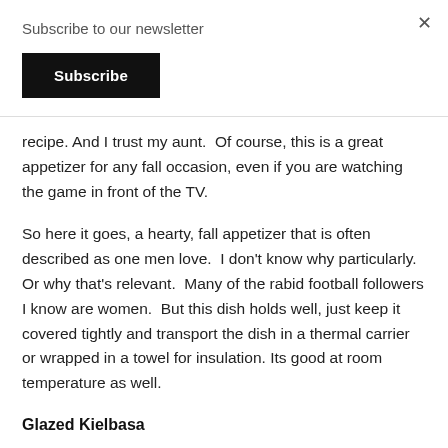Subscribe to our newsletter
Subscribe
recipe. And I trust my aunt.  Of course, this is a great appetizer for any fall occasion, even if you are watching the game in front of the TV.
So here it goes, a hearty, fall appetizer that is often described as one men love.  I don't know why particularly.  Or why that's relevant.  Many of the rabid football followers I know are women.  But this dish holds well, just keep it covered tightly and transport the dish in a thermal carrier or wrapped in a towel for insulation. Its good at room temperature as well.
Glazed Kielbasa